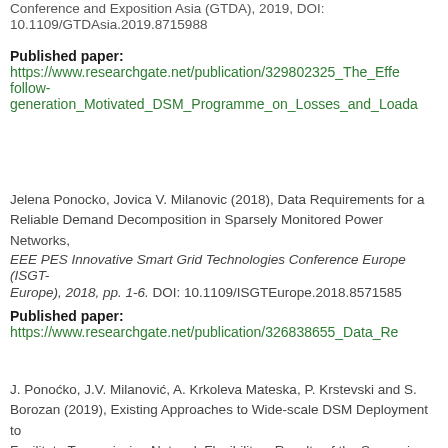Conference and Exposition Asia (GTDA), 2019, DOI: 10.1109/GTDAsia.2019.8715988
Published paper: https://www.researchgate.net/publication/329802325_The_Effe_follow-generation_Motivated_DSM_Programme_on_Losses_and_Loada
Jelena Ponocko, Jovica V. Milanovic (2018), Data Requirements for a Reliable Demand Decomposition in Sparsely Monitored Power Networks, EEE PES Innovative Smart Grid Technologies Conference Europe (ISGT-Europe), 2018, pp. 1-6. DOI: 10.1109/ISGTEurope.2018.8571585
Published paper: https://www.researchgate.net/publication/326838655_Data_Re
J. Ponoćko, J.V. Milanović, A. Krkoleva Mateska, P. Krstevski and S. Borozan (2019), Existing Approaches to Wide-scale DSM Deployment to Facilitate Transmission Network Flexibility – Results of the Survey in